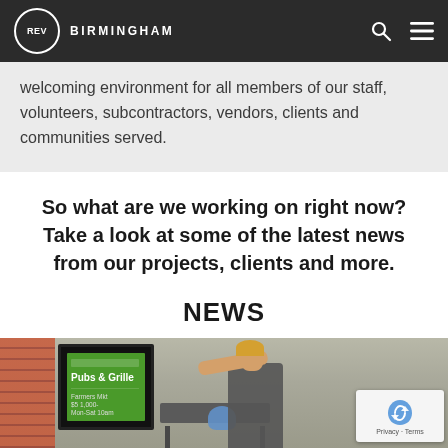REV BIRMINGHAM
welcoming environment for all members of our staff, volunteers, subcontractors, vendors, clients and communities served.
So what are we working on right now? Take a look at some of the latest news from our projects, clients and more.
NEWS
[Figure (photo): A woman at an outdoor event with a green sign on a stand and a cart with items, reCAPTCHA overlay visible in corner.]